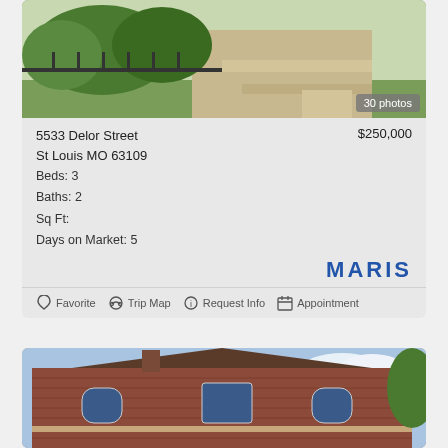[Figure (photo): Exterior photo of 5533 Delor Street showing steps, landscaping, and entrance with iron fence]
30 photos
5533 Delor Street
St Louis MO 63109
Beds: 3
Baths: 2
Sq Ft:
Days on Market: 5
$250,000
MARIS
Favorite  Trip Map  Request Info  Appointment
[Figure (photo): Exterior photo of a brick house with arched windows and blue sky]